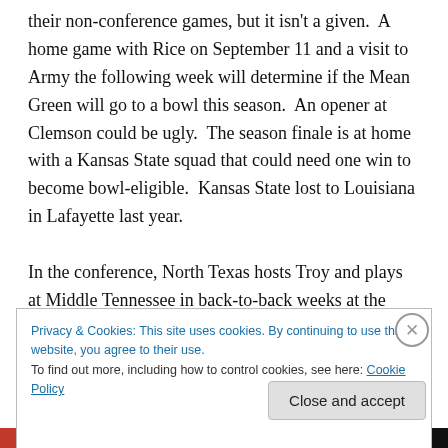their non-conference games, but it isn't a given.  A home game with Rice on September 11 and a visit to Army the following week will determine if the Mean Green will go to a bowl this season.  An opener at Clemson could be ugly.  The season finale is at home with a Kansas State squad that could need one win to become bowl-eligible.  Kansas State lost to Louisiana in Lafayette last year.

In the conference, North Texas hosts Troy and plays at Middle Tennessee in back-to-back weeks at the start of November.  We think they will split those games.  If they
Privacy & Cookies: This site uses cookies. By continuing to use this website, you agree to their use.
To find out more, including how to control cookies, see here: Cookie Policy
Close and accept